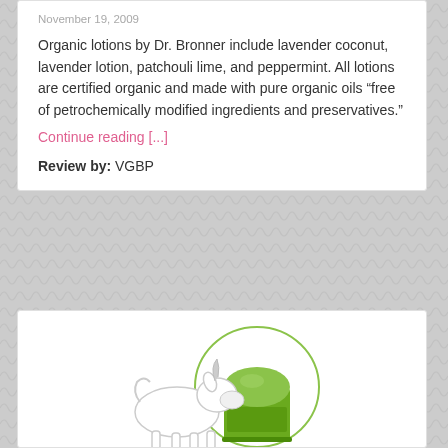November 19, 2009
Organic lotions by Dr. Bronner include lavender coconut, lavender lotion, patchouli lime, and peppermint. All lotions are certified organic and made with pure organic oils “free of petrochemically modified ingredients and preservatives.”
Continue reading [...]
Review by: VGBP
[Figure (illustration): Illustration of a white goat or cat figure sniffing a green round-lidded jar/container, with a circular outline around the jar.]